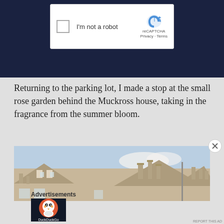[Figure (screenshot): reCAPTCHA widget with checkbox labeled 'I'm not a robot' on a dark navy background]
Returning to the parking lot, I made a stop at the small rose garden behind the Muckross house, taking in the fragrance from the summer bloom.
[Figure (photo): Photograph of the roofline and chimneys of Muckross House, a Victorian mansion in Killarney, Ireland, against a blue sky]
Advertisements
[Figure (screenshot): DuckDuckGo advertisement banner: 'Search, browse, and email with more privacy. All in One Free App']